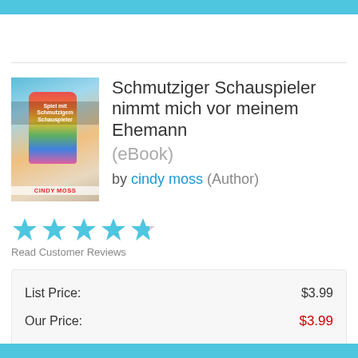[Figure (illustration): Book cover for 'Spielmit Schmutzigem Schauspieler' by Cindy Moss — shows two female figures, one in a colorful floral dress, with blue background. Author name 'CINDY MOSS' in red at bottom.]
Schmutziger Schauspieler nimmt mich vor meinem Ehemann
(eBook)
by cindy moss (Author)
[Figure (infographic): Five filled blue star rating icons]
Read Customer Reviews
| List Price: | $3.99 |
| Our Price: | $3.99 |